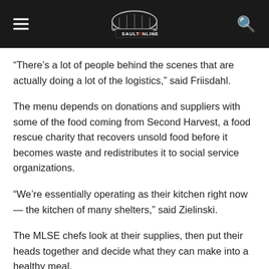SaultOnline
“There’s a lot of people behind the scenes that are actually doing a lot of the logistics,” said Friisdahl.
The menu depends on donations and suppliers with some of the food coming from Second Harvest, a food rescue charity that recovers unsold food before it becomes waste and redistributes it to social service organizations.
“We’re essentially operating as their kitchen right now — the kitchen of many shelters,” said Zielinski.
The MLSE chefs look at their supplies, then put their heads together and decide what they can make into a healthy meal.
“I’ve tasted this food … These are great meals,” Friisdahl said